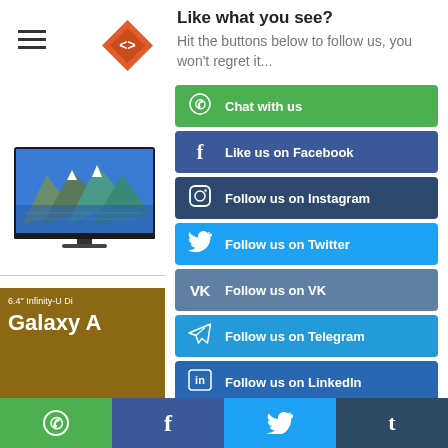[Figure (screenshot): Mobile website screenshot showing Samsung TV product listings on the left side, partially obscured by a social media follow overlay on the right. The overlay shows 'Like what you see?' heading with buttons to follow on WhatsApp, Facebook, Instagram, Twitter, VK, Telegram, and LinkedIn. Bottom navigation bar shows social media icons.]
Like what you see?
Hit the buttons below to follow us, you won't regret it...
Chat with us
Like us on Facebook
Follow us on Instagram
Follow us on Twitter
Follow us on VK
Follow us on Telegram
Follow us on LinkedIn
6.4" Infinity-U Di
Galaxy A